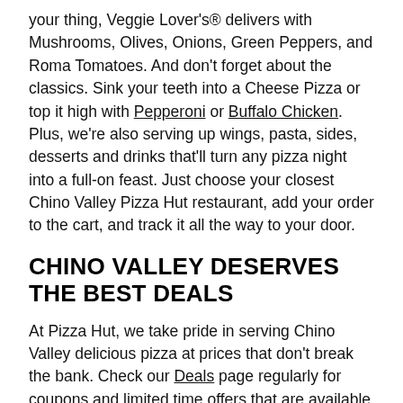your thing, Veggie Lover's® delivers with Mushrooms, Olives, Onions, Green Peppers, and Roma Tomatoes. And don't forget about the classics. Sink your teeth into a Cheese Pizza or top it high with Pepperoni or Buffalo Chicken. Plus, we're also serving up wings, pasta, sides, desserts and drinks that'll turn any pizza night into a full-on feast. Just choose your closest Chino Valley Pizza Hut restaurant, add your order to the cart, and track it all the way to your door.
CHINO VALLEY DESERVES THE BEST DEALS
At Pizza Hut, we take pride in serving Chino Valley delicious pizza at prices that don't break the bank. Check our Deals page regularly for coupons and limited time offers that are available for delivery, carryout, or pickup through The Hut Lane™ drive-thru (at participating Pizza Hut locations). Whether